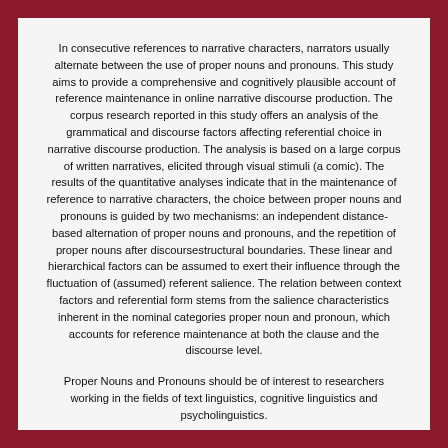In consecutive references to narrative characters, narrators usually alternate between the use of proper nouns and pronouns. This study aims to provide a comprehensive and cognitively plausible account of reference maintenance in online narrative discourse production. The corpus research reported in this study offers an analysis of the grammatical and discourse factors affecting referential choice in narrative discourse production. The analysis is based on a large corpus of written narratives, elicited through visual stimuli (a comic). The results of the quantitative analyses indicate that in the maintenance of reference to narrative characters, the choice between proper nouns and pronouns is guided by two mechanisms: an independent distance-based alternation of proper nouns and pronouns, and the repetition of proper nouns after discoursestructural boundaries. These linear and hierarchical factors can be assumed to exert their influence through the fluctuation of (assumed) referent salience. The relation between context factors and referential form stems from the salience characteristics inherent in the nominal categories proper noun and pronoun, which accounts for reference maintenance at both the clause and the discourse level.
Proper Nouns and Pronouns should be of interest to researchers working in the fields of text linguistics, cognitive linguistics and psycholinguistics.